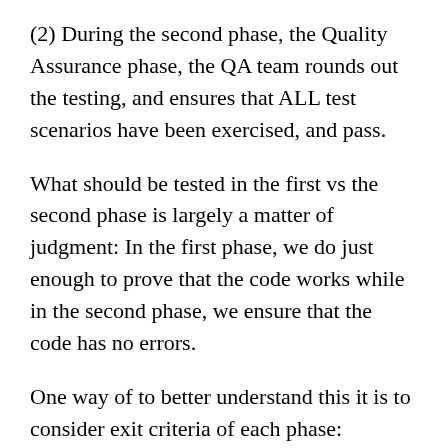(2) During the second phase, the Quality Assurance phase, the QA team rounds out the testing, and ensures that ALL test scenarios have been exercised, and pass.
What should be tested in the first vs the second phase is largely a matter of judgment: In the first phase, we do just enough to prove that the code works while in the second phase, we ensure that the code has no errors.
One way of to better understand this it is to consider exit criteria of each phase: The exit criterion of Phase 1 is that no Severity 1 or 2 bugs will be found in Phase 2. The exit criterion of Phase 2 is that no Severity